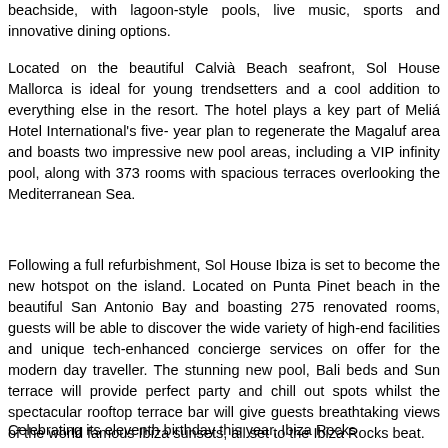beachside, with lagoon-style pools, live music, sports and innovative dining options.
Located on the beautiful Calvià Beach seafront, Sol House Mallorca is ideal for young trendsetters and a cool addition to everything else in the resort. The hotel plays a key part of Meliá Hotel International's five-year plan to regenerate the Magaluf area and boasts two impressive new pool areas, including a VIP infinity pool, along with 373 rooms with spacious terraces overlooking the Mediterranean Sea.
Following a full refurbishment, Sol House Ibiza is set to become the new hotspot on the island. Located on Punta Pinet beach in the beautiful San Antonio Bay and boasting 275 renovated rooms, guests will be able to discover the wide variety of high-end facilities and unique tech-enhanced concierge services on offer for the modern day traveller. The stunning new pool, Bali beds and Sun terrace will provide perfect party and chill out spots whilst the spectacular rooftop terrace bar will give guests breathtaking views of the world famous Ibiza sunsets, all set to the Ibiza Rocks beat.
Celebrating its eleventh birthday this year, Ibiza Rocks